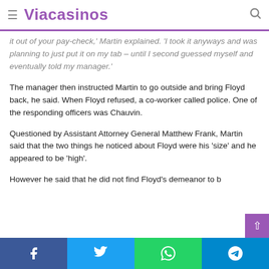≡ Viacasinos 🔍
it out of your pay-check,' Martin explained. 'I took it anyways and was planning to just put it on my tab – until I second guessed myself and eventually told my manager.'
The manager then instructed Martin to go outside and bring Floyd back, he said. When Floyd refused, a co-worker called police. One of the responding officers was Chauvin.
Questioned by Assistant Attorney General Matthew Frank, Martin said that the two things he noticed about Floyd were his 'size' and he appeared to be 'high'.
However he said that he did not find Floyd's demeanor to b…
Facebook  Twitter  WhatsApp  Telegram